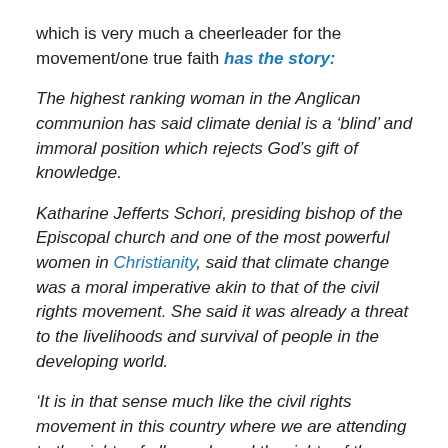which is very much a cheerleader for the movement/one true faith has the story:
The highest ranking woman in the Anglican communion has said climate denial is a ‘blind’ and immoral position which rejects God’s gift of knowledge.
Katharine Jefferts Schori, presiding bishop of the Episcopal church and one of the most powerful women in Christianity, said that climate change was a moral imperative akin to that of the civil rights movement. She said it was already a threat to the livelihoods and survival of people in the developing world.
‘It is in that sense much like the civil rights movement in this country where we are attending to the rights of all people and the rights of the earth to continue to be a